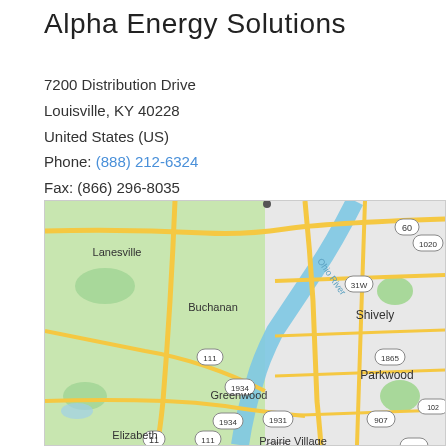Alpha Energy Solutions
7200 Distribution Drive
Louisville, KY 40228
United States (US)
Phone: (888) 212-6324
Fax: (866) 296-8035
[Figure (map): Google Maps view showing the area around Louisville, KY including neighborhoods Lanesville, Buchanan, Shively, Greenwood, Parkwood, Elizabeth, Prairie Village, and the Ohio River. Roads including routes 60, 1020, 31W, 111, 1934, 1931, 1865, 907, 841 are visible.]